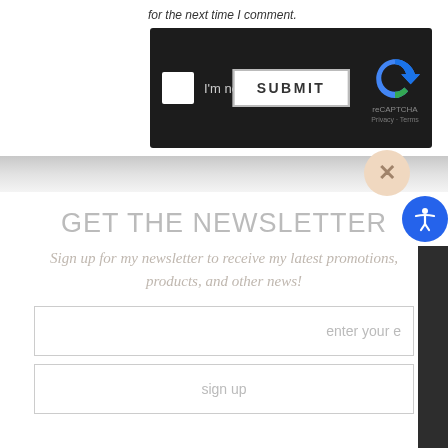for the next time I comment.
[Figure (screenshot): reCAPTCHA widget with dark background showing checkbox, 'I'm not a robot' text, reCAPTCHA logo, Privacy and Terms links, and a SUBMIT button overlay]
GET THE NEWSLETTER
Sign up for my newsletter to receive my latest promotions, products, and other news!
enter your e
sign up